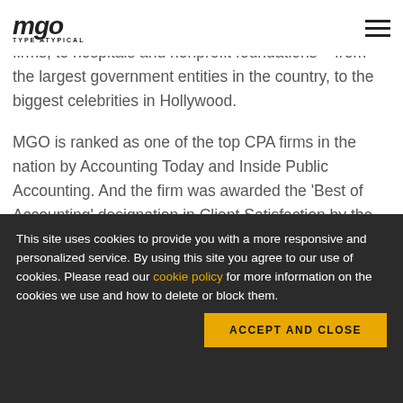MGO · TYPE ATYPICAL
clients that range from aerospace and engineering firms, to hospitals and nonprofit foundations – from the largest government entities in the country, to the biggest celebrities in Hollywood.
MGO is ranked as one of the top CPA firms in the nation by Accounting Today and Inside Public Accounting. And the firm was awarded the 'Best of Accounting' designation in Client Satisfaction by the independent research firm, Inavero.
This site uses cookies to provide you with a more responsive and personalized service. By using this site you agree to our use of cookies. Please read our cookie policy for more information on the cookies we use and how to delete or block them.
ACCEPT AND CLOSE